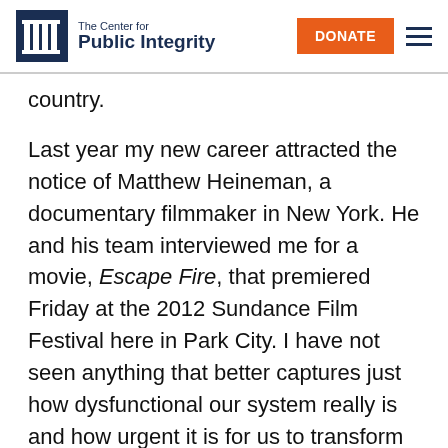[Figure (logo): The Center for Public Integrity logo with column icon and text]
country.
Last year my new career attracted the notice of Matthew Heineman, a documentary filmmaker in New York. He and his team interviewed me for a movie, Escape Fire, that premiered Friday at the 2012 Sundance Film Festival here in Park City. I have not seen anything that better captures just how dysfunctional our system really is and how urgent it is for us to transform it.
I was invited to the premier and to be part of a town hall-type discussion with others who were